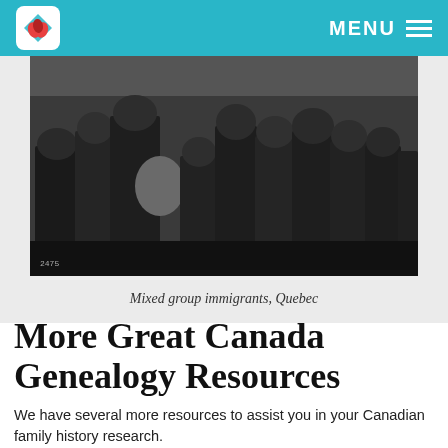MENU
[Figure (photo): Black and white historical photograph of a mixed group of immigrants in Quebec, including women and children of various ages dressed in early 20th century clothing.]
Mixed group immigrants, Quebec
More Great Canada Genealogy Resources
We have several more resources to assist you in your Canadian family history research.
Click here to learn why Quebec Church